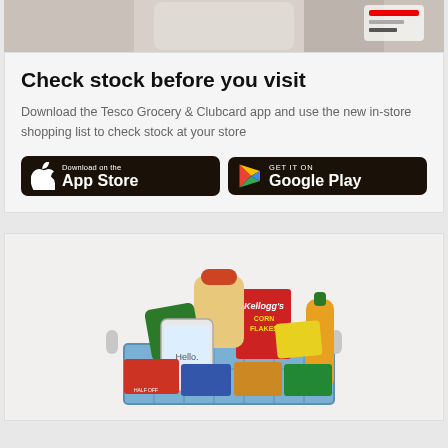[Figure (photo): Top portion of a hand holding a smartphone showing a Tesco app screen]
Check stock before you visit
Download the Tesco Grocery & Clubcard app and use the new in-store shopping list to check stock at your store
[Figure (infographic): App Store and Google Play download buttons on black rounded rectangles]
[Figure (photo): Shopping basket filled with groceries including Kellogg's Corn Flakes, bread, crisps, juice, and a smartphone with Tesco app]